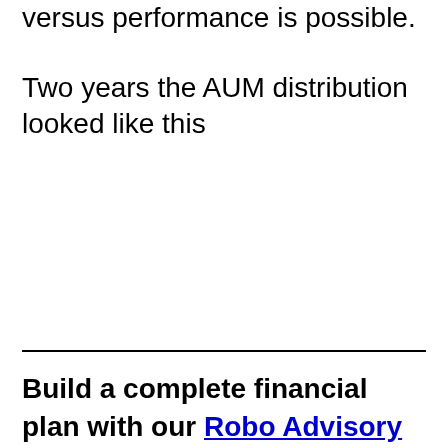versus performance is possible.
Two years the AUM distribution looked like this
Build a complete financial plan with our Robo Advisory Tool. More than